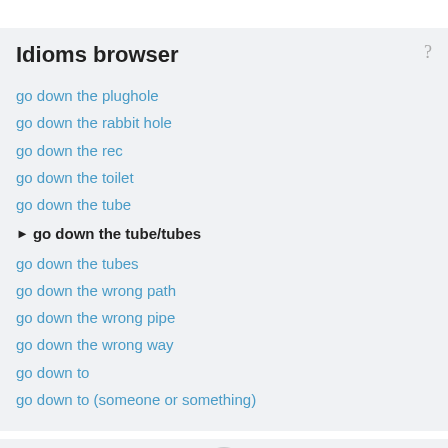Idioms browser
go down the plughole
go down the rabbit hole
go down the rec
go down the toilet
go down the tube
go down the tube/tubes
go down the tubes
go down the wrong path
go down the wrong pipe
go down the wrong way
go down to
go down to (someone or something)
Full browser